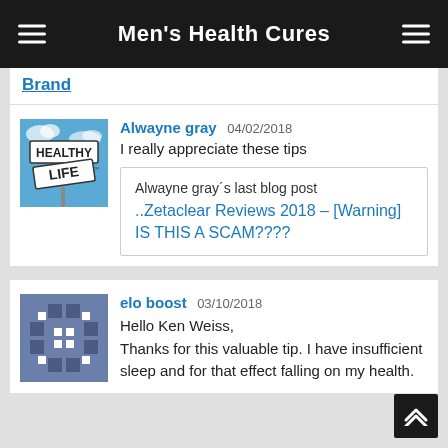Men's Health Cures
Brand
Alwayne gray 04/02/2018
I really appreciate these tips
Alwayne gray´s last blog post
..Zetaclear Reviews 2018 – [Warning] IS THIS A SCAM????
elo boost 03/10/2018
Hello Ken Weiss,
Thanks for this valuable tip. I have insufficient sleep and for that effect falling on my health.